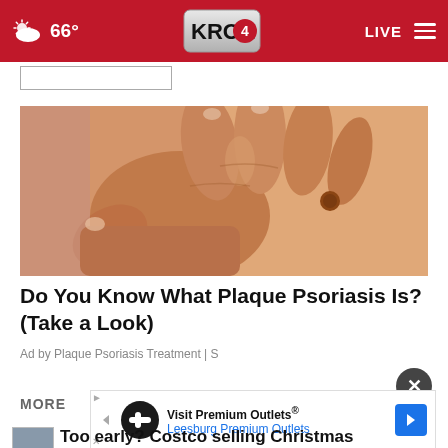66° KRON 4 LIVE
[Figure (screenshot): Search bar input field, partially visible]
[Figure (photo): Close-up photograph of a hand scratching skin with a visible mole or lesion, related to plaque psoriasis article]
Do You Know What Plaque Psoriasis Is? (Take a Look)
Ad by Plaque Psoriasis Treatment | S
MORE
[Figure (infographic): Bottom advertisement banner: Visit Premium Outlets® Leesburg Premium Outlets with logo and navigation arrow icon]
Too early? Costco selling Christmas